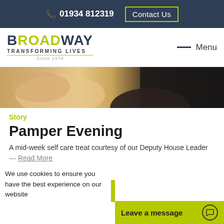📞 01934 812319  Contact Us
[Figure (logo): Broadway Transforming Lives logo with green underline and 'Since 1974' text]
[Figure (photo): Close-up hero photo showing hands and dark clothing]
Story
Pamper Evening
A mid-week self care treat courtesy of our Deputy House Leader
Read More
We use cookies to ensure you have the best experience on our website
Leave a message